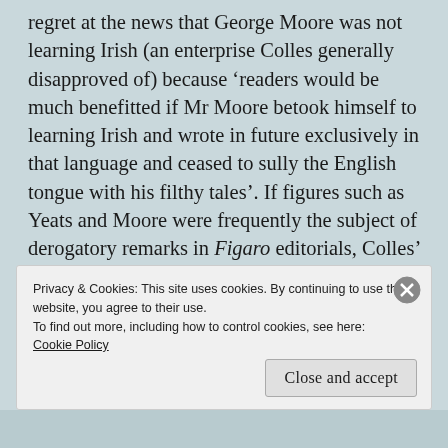regret at the news that George Moore was not learning Irish (an enterprise Colles generally disapproved of) because 'readers would be much benefitted if Mr Moore betook himself to learning Irish and wrote in future exclusively in that language and ceased to sully the English tongue with his filthy tales'. If figures such as Yeats and Moore were frequently the subject of derogatory remarks in Figaro editorials, Colles' expressed views on broader social issues could be even more
Privacy & Cookies: This site uses cookies. By continuing to use this website, you agree to their use.
To find out more, including how to control cookies, see here:
Cookie Policy